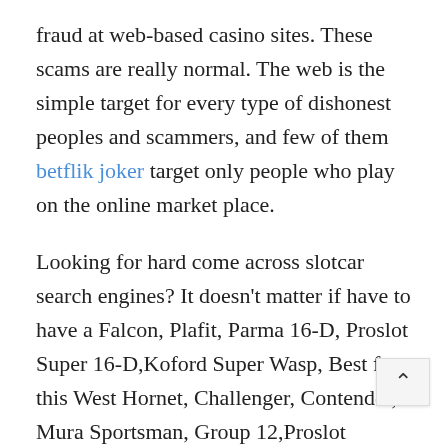fraud at web-based casino sites. These scams are really normal. The web is the simple target for every type of dishonest peoples and scammers, and few of them betflik joker target only people who play on the online market place.
Looking for hard come across slotcar search engines? It doesn't matter if have to have a Falcon, Plafit, Parma 16-D, Proslot Super 16-D,Koford Super Wasp, Best for this West Hornet, Challenger, Contender, Mura Sportsman, Group 12,Proslot Group-15,Koford Group 27, PK Group-7 or Valiko Eurosport. Motors and replacement and repair parts such as armatures, ceramic magnets and cobalt magnets, brushes and springs are needed for rapid. Mid-America Raceway has got the widest variety anywhere from Valiko, Koford, Pro Kelly Racing,Lee Gilbert's Speedshop, Parma, Wright PK, Slick7, Camen, Pla-Fit, Falcon, Mura, Champion, Alpha,